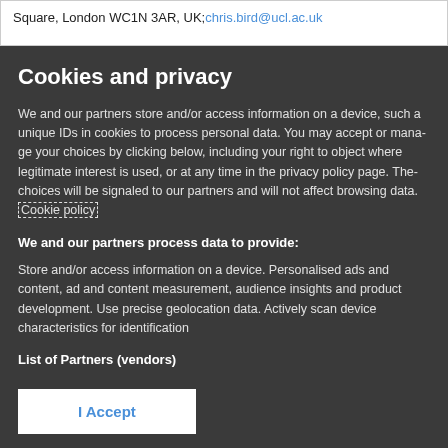Square, London WC1N 3AR, UK; chris.bird@ucl.ac.uk
Cookies and privacy
We and our partners store and/or access information on a device, such a unique IDs in cookies to process personal data. You may accept or manage your choices by clicking below, including your right to object where legitimate interest is used, or at any time in the privacy policy page. These choices will be signaled to our partners and will not affect browsing data. Cookie policy
We and our partners process data to provide:
Store and/or access information on a device. Personalised ads and content, ad and content measurement, audience insights and product development. Use precise geolocation data. Actively scan device characteristics for identification
List of Partners (vendors)
I Accept